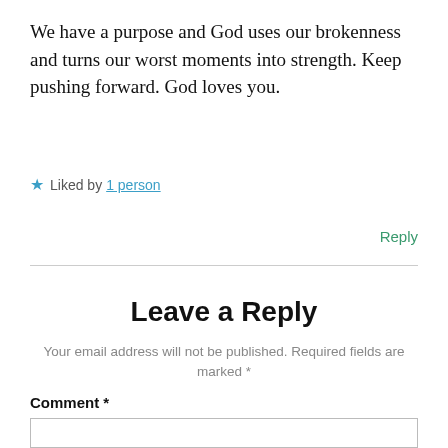We have a purpose and God uses our brokenness and turns our worst moments into strength. Keep pushing forward. God loves you.
★ Liked by 1 person
Reply
Leave a Reply
Your email address will not be published. Required fields are marked *
Comment *